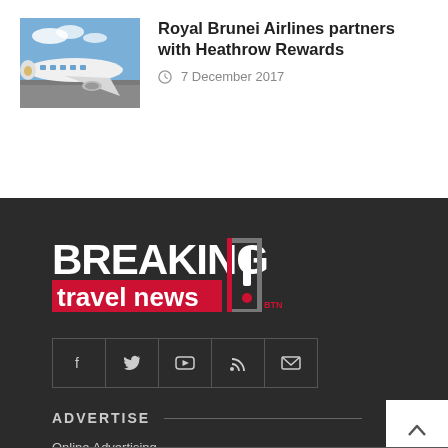[Figure (photo): Thumbnail photo of a Royal Brunei Airlines aircraft on tarmac with blue sky]
Royal Brunei Airlines partners with Heathrow Rewards
7 December 2017
[Figure (logo): Breaking Travel News logo with red background on 'travel news' text and bracket-exclamation mark icon, with BTN text]
ADVERTISE
Online Advertising